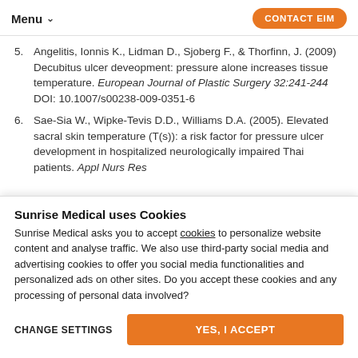Menu   CONTACT EIM
5. Angelitis, Ionnis K., Lidman D., Sjoberg F., & Thorfinn, J. (2009) Decubitus ulcer deveopment: pressure alone increases tissue temperature. European Journal of Plastic Surgery 32:241-244 DOI: 10.1007/s00238-009-0351-6
6. Sae-Sia W., Wipke-Tevis D.D., Williams D.A. (2005). Elevated sacral skin temperature (T(s)): a risk factor for pressure ulcer development in hospitalized neurologically impaired Thai patients. Appl Nurs Res
Sunrise Medical uses Cookies
Sunrise Medical asks you to accept cookies to personalize website content and analyse traffic. We also use third-party social media and advertising cookies to offer you social media functionalities and personalized ads on other sites. Do you accept these cookies and any processing of personal data involved?